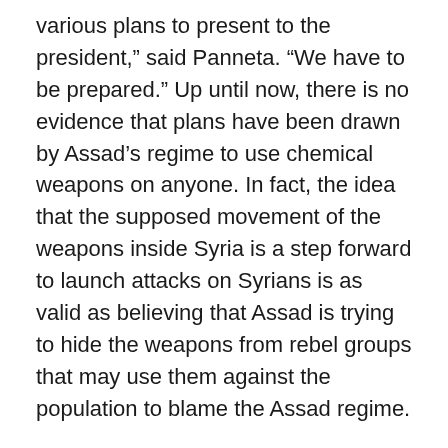various plans to present to the president,” said Panneta. “We have to be prepared.” Up until now, there is no evidence that plans have been drawn by Assad’s regime to use chemical weapons on anyone. In fact, the idea that the supposed movement of the weapons inside Syria is a step forward to launch attacks on Syrians is as valid as believing that Assad is trying to hide the weapons from rebel groups that may use them against the population to blame the Assad regime.
Unfortunately, the terrorist rebel groups do not need to use Assad’s chemicals to pull that one off, since the U.S. and its allies in the region possess enough chemicals to provide to the rebels so they can launch chemical attacks which they will then blame on Bashar Assad’s regime. In a sense, that action would be the perfect false-flag for the U.S. and NATO allies to launch an open assault from air,